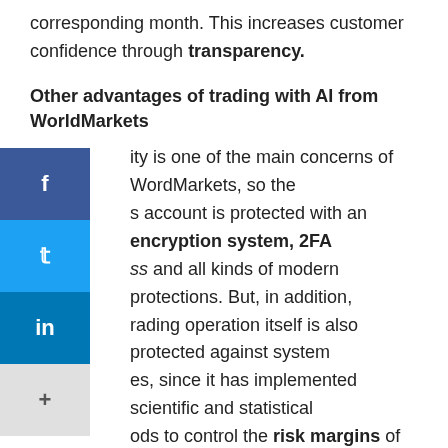corresponding month. This increases customer confidence through transparency.
Other advantages of trading with AI from WorldMarkets
ity is one of the main concerns of WordMarkets, so the s account is protected with an encryption system, 2FA ss and all kinds of modern protections. But, in addition, rading operation itself is also protected against system es, since it has implemented scientific and statistical ods to control the risk margins of operations and thus ct the profitability and duration of the entire system.
The other great advantage that WorldMarkets offers us is its generous affiliation system. By which we can act as ambassadors for the company, since they share with us 50% of the commissions generated by a client that we have brought to the platform. Recall that WorldMarkets only charges commission for trading operations that are